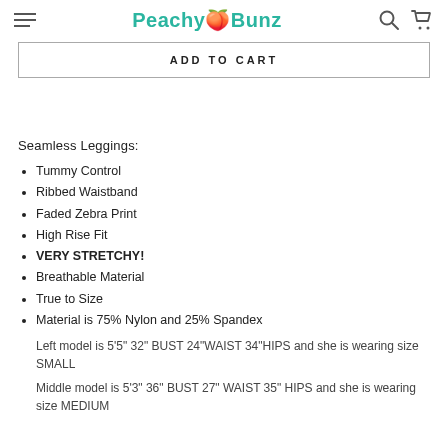PeachyBunz
ADD TO CART
Seamless Leggings:
Tummy Control
Ribbed Waistband
Faded Zebra Print
High Rise Fit
VERY STRETCHY!
Breathable Material
True to Size
Material is 75% Nylon and 25% Spandex
Left model is 5'5" 32" BUST 24"WAIST 34"HIPS and she is wearing size SMALL
Middle model is 5'3" 36" BUST 27" WAIST 35" HIPS and she is wearing size MEDIUM